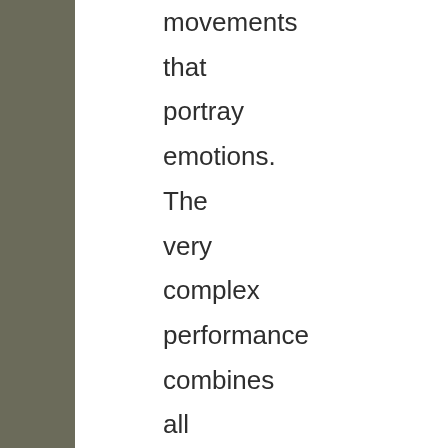movements that portray emotions. The very complex performance combines all these various pieces with a rhythm and pace that is precise and wonderfully graceful. The movements